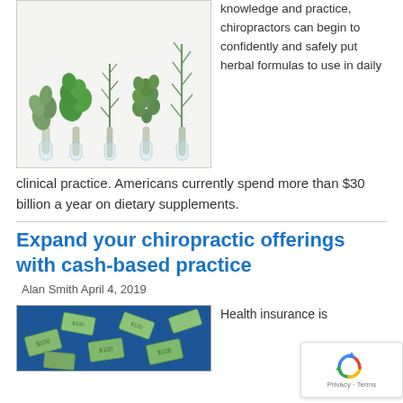[Figure (photo): Herbs in glass vials/test tubes against a white background – sage, mint, rosemary, thyme and other plants]
knowledge and practice, chiropractors can begin to confidently and safely put herbal formulas to use in daily clinical practice. Americans currently spend more than $30 billion a year on dietary supplements.
Expand your chiropractic offerings with cash-based practice
Alan Smith April 4, 2019
[Figure (photo): Money (US dollar bills) flying in the air against a blue background]
Health insurance is